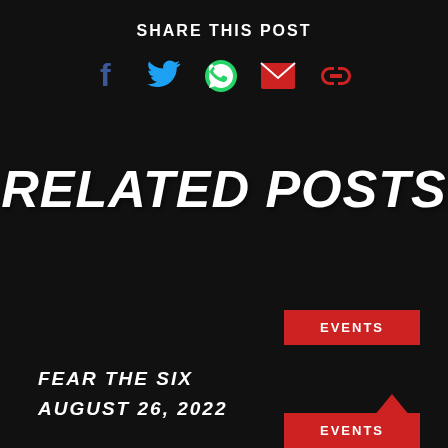SHARE THIS POST
[Figure (infographic): Row of social media share icons: Facebook (blue f), Twitter (blue bird), WhatsApp (green phone), Email (red envelope), Link/Copy (red chain link)]
RELATED POSTS
EVENTS
FEAR THE SIX
AUGUST 26, 2022
EVENTS